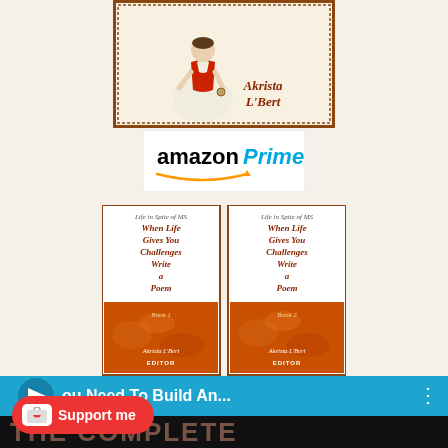[Figure (illustration): Book cover illustration showing a figure in a red vest and white skirt, with ornate border. Author name 'Akrista L'Bert' shown in bottom right of cover.]
[Figure (logo): Amazon Prime logo - 'amazon' in black bold sans-serif and 'Prime' in blue italic, with amazon arrow beneath, on white background.]
[Figure (illustration): Two book covers side by side. Both titled 'Life in Spite of MS / When Life Gives You Challenges Write a Poem'. Left is Book 1, Right is Book 2. Both by Akrista L'Bert, EDITOR. White top with dark red title text, orange/brown bottom half with autumn leaf imagery.]
[Figure (screenshot): Video player thumbnail strip showing partial video title 'ou Need To Build An...' in white text on blue background. Below shows partial text 'THE COMPLETE' in brownish letters. Three-dot menu icon visible. Support me button (red pill shape with coffee cup icon) overlaid at bottom left.]